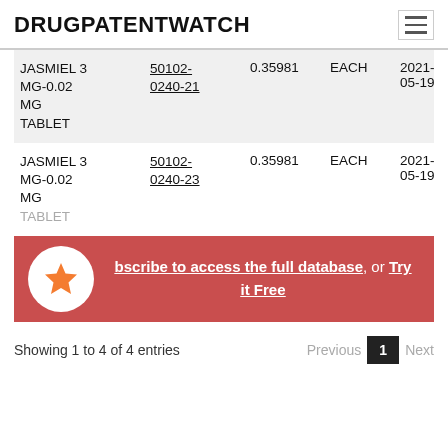DRUGPATENTWATCH
| Product | NDC | Price | Unit | Date |
| --- | --- | --- | --- | --- |
| JASMIEL 3 MG-0.02 MG TABLET | 50102-0240-21 | 0.35981 | EACH | 2021-05-19 |
| JASMIEL 3 MG-0.02 MG TABLET | 50102-0240-23 | 0.35981 | EACH | 2021-05-19 |
Subscribe to access the full database, or Try it Free
Showing 1 to 4 of 4 entries